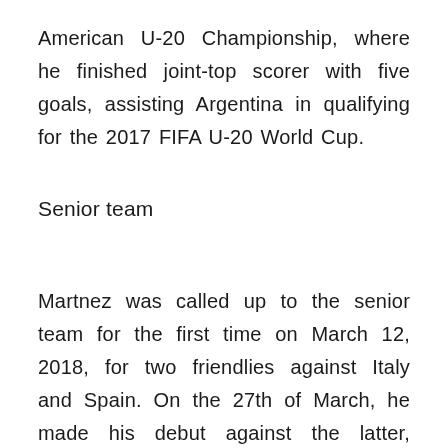American U-20 Championship, where he finished joint-top scorer with five goals, assisting Argentina in qualifying for the 2017 FIFA U-20 World Cup.
Senior team
Martnez was called up to the senior team for the first time on March 12, 2018, for two friendlies against Italy and Spain. On the 27th of March, he made his debut against the latter, replacing Gonzalo Higuain in a 6–1 defeat.
He was chosen in Argentina's preliminary squad for